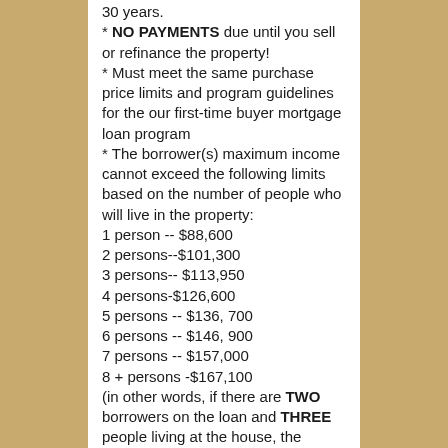30 years. * NO PAYMENTS due until you sell or refinance the property! * Must meet the same purchase price limits and program guidelines for the our first-time buyer mortgage loan program * The borrower(s) maximum income cannot exceed the following limits based on the number of people who will live in the property: 1 person -- $88,600 2 persons--$101,300 3 persons-- $113,950 4 persons-$126,600 5 persons -- $136, 700 6 persons -- $146, 900 7 persons -- $157,000 8 + persons -$167,100 (in other words, if there are TWO borrowers on the loan and THREE people living at the house, the income of the borrowers cannot exceed $113,950)